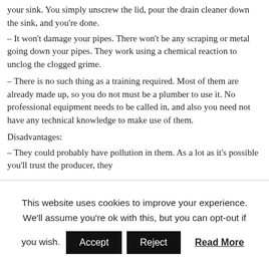your sink. You simply unscrew the lid, pour the drain cleaner down the sink, and you're done.
– It won't damage your pipes. There won't be any scraping or metal going down your pipes. They work using a chemical reaction to unclog the clogged grime.
– There is no such thing as a training required. Most of them are already made up, so you do not must be a plumber to use it. No professional equipment needs to be called in, and also you need not have any technical knowledge to make use of them.
Disadvantages:
– They could probably have pollution in them. As a lot as it's possible you'll trust the producer, they
This website uses cookies to improve your experience. We'll assume you're ok with this, but you can opt-out if you wish. Accept Reject Read More